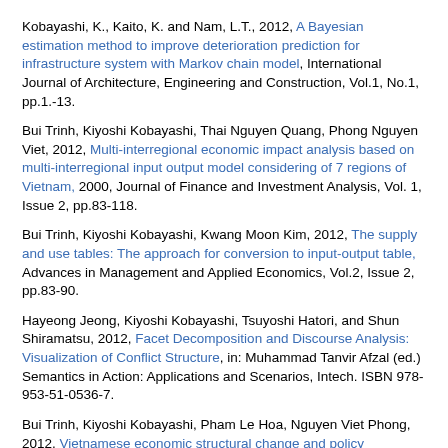Kobayashi, K., Kaito, K. and Nam, L.T., 2012, A Bayesian estimation method to improve deterioration prediction for infrastructure system with Markov chain model, International Journal of Architecture, Engineering and Construction, Vol.1, No.1, pp.1.-13.
Bui Trinh, Kiyoshi Kobayashi, Thai Nguyen Quang, Phong Nguyen Viet, 2012, Multi-interregional economic impact analysis based on multi-interregional input output model considering of 7 regions of Vietnam, 2000, Journal of Finance and Investment Analysis, Vol. 1, Issue 2, pp.83-118.
Bui Trinh, Kiyoshi Kobayashi, Kwang Moon Kim, 2012, The supply and use tables: The approach for conversion to input-output table, Advances in Management and Applied Economics, Vol.2, Issue 2, pp.83-90.
Hayeong Jeong, Kiyoshi Kobayashi, Tsuyoshi Hatori, and Shun Shiramatsu, 2012, Facet Decomposition and Discourse Analysis: Visualization of Conflict Structure, in: Muhammad Tanvir Afzal (ed.) Semantics in Action: Applications and Scenarios, Intech. ISBN 978-953-51-0536-7.
Bui Trinh, Kiyoshi Kobayashi, Pham Le Hoa, Nguyen Viet Phong, 2012, Vietnamese economic structural change and policy implications, Global Journal of Human Social Siences, Vol.12, Issue 9, pp.7-12.
Trinh Bui, Kiyoshi Kobayashi, Hoa Le Pham, Phong Nguyen Viet, 2012. The economic Structural change comparison of interactions analysis between manufacturing and REST of the economic activity, Journal of Contemporary Management, Vol 1, No 1.
Le Thanh Nam, [Japanese chars], 2012, [Japanese chars], [Japanese chars]F4[Japanese chars], Vol.68, No.2, p.62-79.